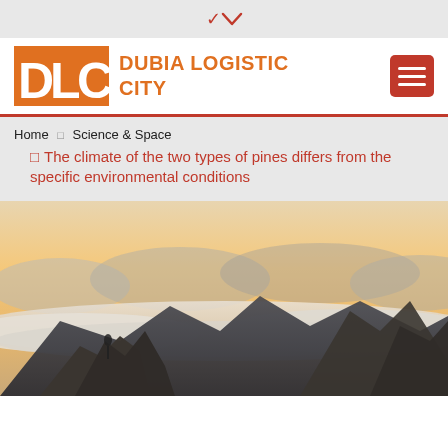▾
[Figure (logo): DLC Dubia Logistic City logo with orange DLC letters on orange background and menu button]
Home › Science & Space › The climate of the two types of pines differs from the specific environmental conditions
[Figure (photo): Mountain landscape with sea of clouds at sunset, rocky peaks in foreground]